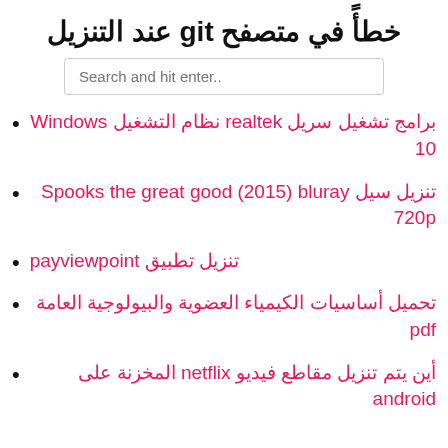خطأً في متصفح git عند التنزيل
Search and hit enter..
برامج تشغيل سريل realtek نظام التشغيل Windows 10
تنزيل سيل Spooks the great good (2015) bluray 720p
تنزيل تطبيق payviewpoint
تحميل أساسيات الكيمياء العضوية والبيولوجية العامة pdf
أين يتم تنزيل مقاطع فيديو netflix المخزنة على android